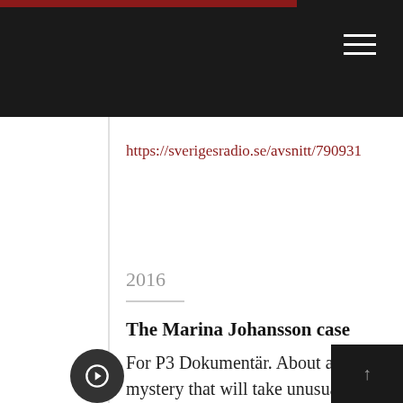https://sverigesradio.se/avsnitt/790931
2016
The Marina Johansson case
For P3 Dokumentär. About a murder mystery that will take unusual turns in the Swedish judicial system and become the the break through for the organization Missing People. https://sverigesradio.se/avsnitt/72118...